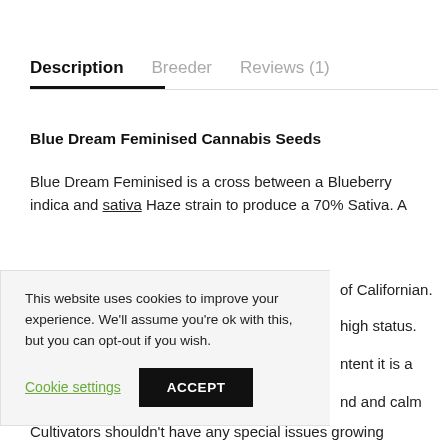Description | Breeder | Reviews (1)
Blue Dream Feminised Cannabis Seeds
Blue Dream Feminised is a cross between a Blueberry indica and sativa Haze strain to produce a 70% Sativa. A [partial] of Californian. [partial] high status. [partial] tent it is a [partial] nd and calm
This website uses cookies to improve your experience. We'll assume you're ok with this, but you can opt-out if you wish.
Cultivators shouldn't have any special issues growing